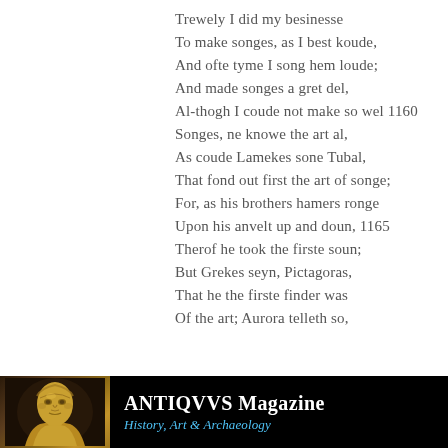Trewely I did my besinesse
To make songes, as I best koude,
And ofte tyme I song hem loude;
And made songes a gret del,
Al-thogh I coude not make so wel 1160
Songes, ne knowe the art al,
As coude Lamekes sone Tubal,
That fond out first the art of songe;
For, as his brothers hamers ronge
Upon his anvelt up and doun, 1165
Therof he took the firste soun;
But Grekes seyn, Pictagoras,
That he the firste finder was
Of the art; Aurora telleth so,
[Figure (logo): ANTIQVVS Magazine advertisement banner with a golden Roman bust on the left and text 'ANTIQVVS Magazine' in white bold and 'History, Art & Archaeology' in blue italic on black background]